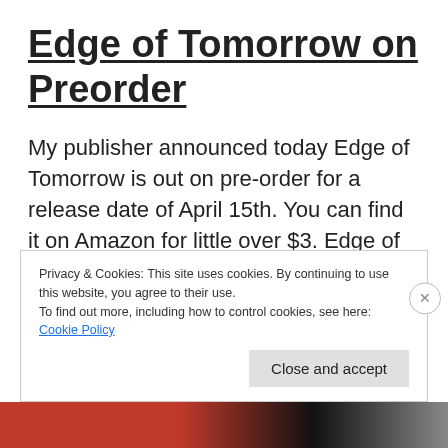Edge of Tomorrow on Preorder
My publisher announced today Edge of Tomorrow is out on pre-order for a release date of April 15th. You can find it on Amazon for little over $3. Edge of Tomorrow is a dystopian new adult fiction novel. Twenty years after The Great Global Riots and the collapse of humanity, Alex Locke struggles to save his [...]
Privacy & Cookies: This site uses cookies. By continuing to use this website, you agree to their use.
To find out more, including how to control cookies, see here: Cookie Policy